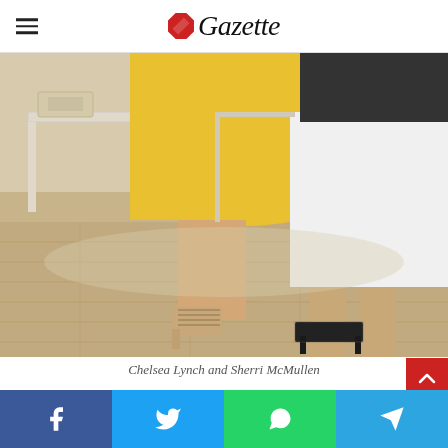Gazette
[Figure (photo): Two women standing on a wood floor in a boutique or store. One is wearing a yellow dress with nude lace-up heeled sandals. The other is wearing a white skirt and black top with black heeled mule sandals. Store shelving and accessories visible in background.]
Chelsea Lynch and Sherri McMullen
[Figure (photo): Partial view of another photo below, cropped at bottom of page, showing a light-colored background.]